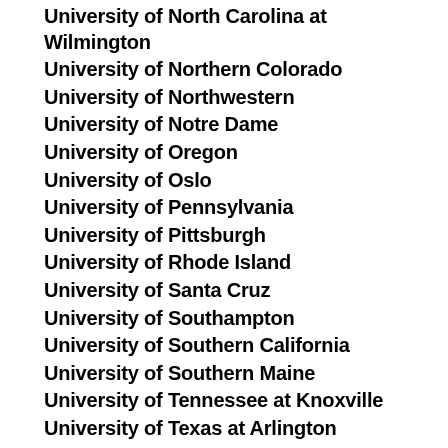University of North Carolina at Wilmington
University of Northern Colorado
University of Northwestern
University of Notre Dame
University of Oregon
University of Oslo
University of Pennsylvania
University of Pittsburgh
University of Rhode Island
University of Santa Cruz
University of Southampton
University of Southern California
University of Southern Maine
University of Tennessee at Knoxville
University of Texas at Arlington
University of Texas at San Antonio
University of Texas Austin
University of Toronto
University of Trent